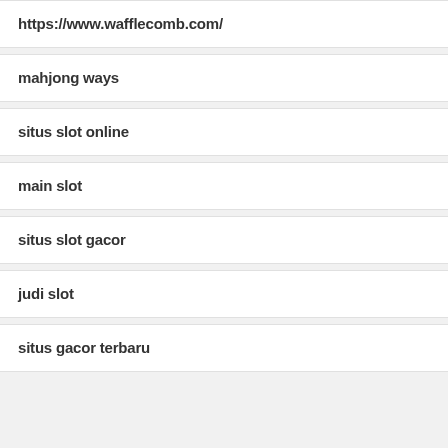https://www.wafflecomb.com/
mahjong ways
situs slot online
main slot
situs slot gacor
judi slot
situs gacor terbaru